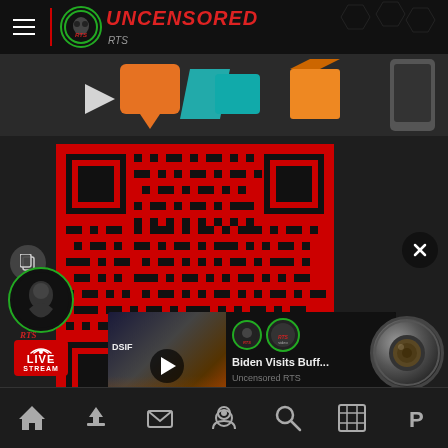Uncensored RTS - navigation header with logo
[Figure (screenshot): Uncensored RTS website screenshot showing a QR code (red on dark background), RTS logo, LIVE STREAM badge, a video popup overlay showing 'Biden Visits Buff...' with play button, and bottom navigation bar with home, upload, mail, user, search, film, and PayPal icons.]